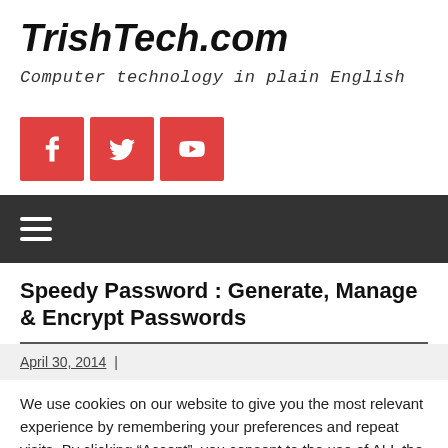TrishTech.com
Computer technology in plain English
[Figure (other): Three red social media icon buttons: Facebook, Twitter, YouTube]
[Figure (other): Dark navigation bar with hamburger menu icon (three horizontal lines)]
Speedy Password : Generate, Manage & Encrypt Passwords
April 30, 2014  |
We use cookies on our website to give you the most relevant experience by remembering your preferences and repeat visits. By clicking “Accept”, you consent to the use of ALL the cookies.